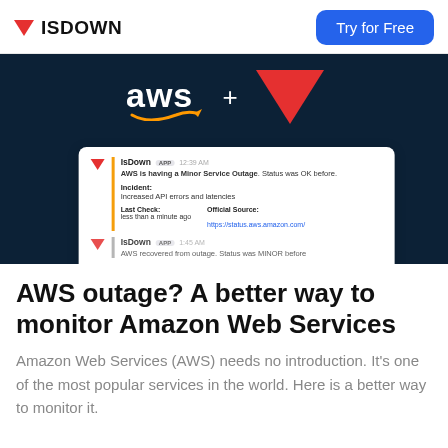ISDOWN   Try for Free
[Figure (screenshot): Hero banner showing AWS logo plus ISDOWN triangle logo on dark navy background, with a notification card showing 'AWS is having a Minor Service Outage. Status was OK before. Incident: Increased API errors and latencies. Last Check: less than a minute ago. Official Source: https://status.aws.amazon.com/' and a second notification 'AWS recovered from outage. Status was MINOR before']
AWS outage? A better way to monitor Amazon Web Services
Amazon Web Services (AWS) needs no introduction. It's one of the most popular services in the world. Here is a better way to monitor it.